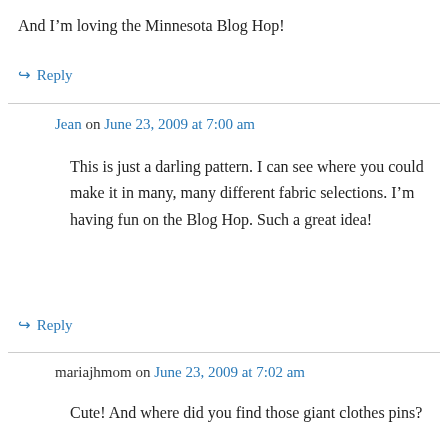And I'm loving the Minnesota Blog Hop!
↳ Reply
Jean on June 23, 2009 at 7:00 am
This is just a darling pattern. I can see where you could make it in many, many different fabric selections. I'm having fun on the Blog Hop. Such a great idea!
↳ Reply
mariajhmom on June 23, 2009 at 7:02 am
Cute! And where did you find those giant clothes pins?